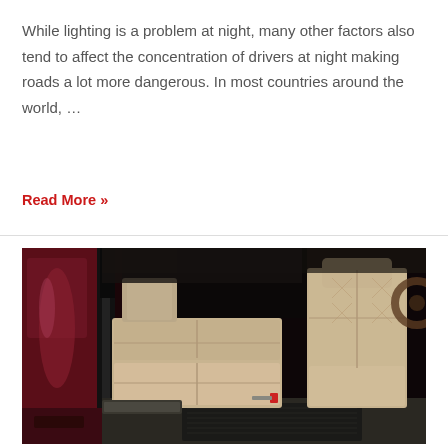While lighting is a problem at night, many other factors also tend to affect the concentration of drivers at night making roads a lot more dangerous. In most countries around the world, …
Read More »
[Figure (photo): Photo of SUV interior showing beige/tan leather rear seats with the rear door open, dark floor mats, and front passenger seat visible. The exterior of the vehicle is dark red/maroon.]